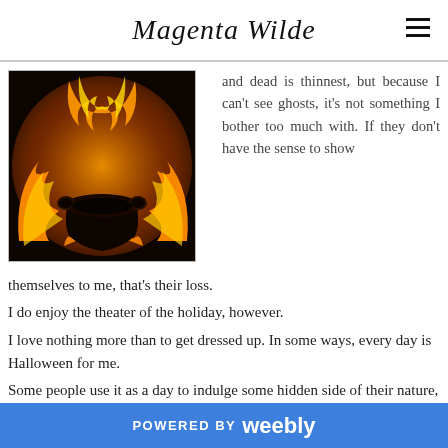Magenta Wilde
[Figure (photo): A carved jack-o-lantern pumpkin with glowing orange flame shapes and a dark silhouette cauldron in the center, on a black background.]
and dead is thinnest, but because I can't see ghosts, it's not something I bother too much with. If they don't have the sense to show themselves to me, that's their loss.
I do enjoy the theater of the holiday, however.
I love nothing more than to get dressed up. In some ways, every day is Halloween for me.
Some people use it as a day to indulge some hidden side of their nature, where they hide behind a mask or makeup to be sexy or scary or funny. Others use it to express some true side of themselves. I count myself among the latter.
POWERED BY weebly